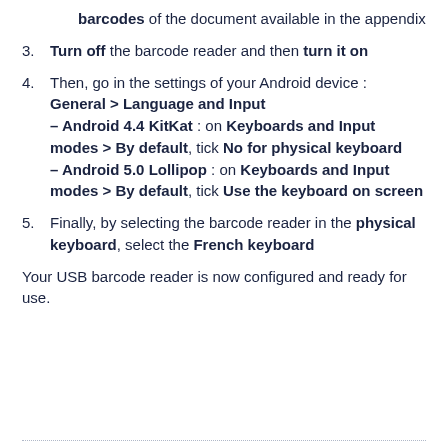barcodes of the document available in the appendix
Turn off the barcode reader and then turn it on
Then, go in the settings of your Android device : General > Language and Input – Android 4.4 KitKat : on Keyboards and Input modes > By default, tick No for physical keyboard – Android 5.0 Lollipop : on Keyboards and Input modes > By default, tick Use the keyboard on screen
Finally, by selecting the barcode reader in the physical keyboard, select the French keyboard
Your USB barcode reader is now configured and ready for use.